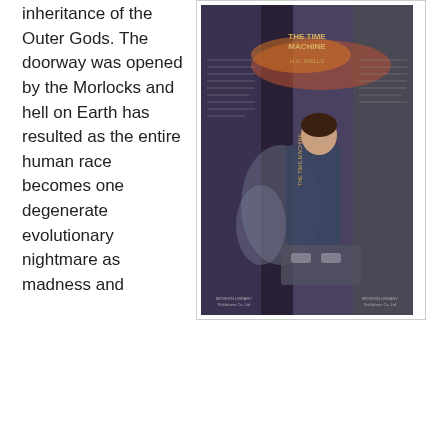inheritance of the Outer Gods. The doorway was opened by the Morlocks and hell on Earth has resulted as the entire human race becomes one degenerate evolutionary nightmare as madness and mutation run wild.
[Figure (photo): Book cover of 'The Time Machine' by H.G. Wells, showing a pulp science fiction style illustration with a man in the foreground and ghostly figures, spine visible reading 'THE TIME MACHINE', published by Modern Library.]
The trappings here are almost in the realm of the Gothic novel rather then the science fiction romances of Wells.  A rather useful article called TIME MACHINES GO BOTH WAYS available right HERE.
Many of these ideas were incorporated into a meta campaign using elements from many of the retroclones and Hodgeson's Nightlands. Much of the material also incorporated some of the elements from the Mutant Future Wiki articles on the Eloi. Here
The Eloi have always bothered me in a way. They almost appear to be the too perfect product. Prepacked, pretty, and generally the